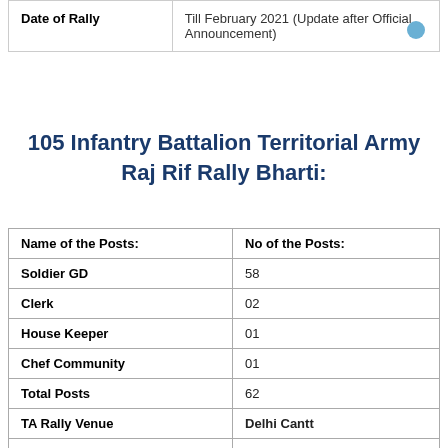| Date of Rally |  |
| --- | --- |
| Date of Rally | Till February 2021 (Update after Official Announcement) |
105 Infantry Battalion Territorial Army Raj Rif Rally Bharti:
| Name of the Posts: | No of the Posts: |
| --- | --- |
| Soldier GD | 58 |
| Clerk | 02 |
| House Keeper | 01 |
| Chef Community | 01 |
| Total Posts | 62 |
| TA Rally Venue | Delhi Cantt |
| Date of Rally | Feb 2020 |